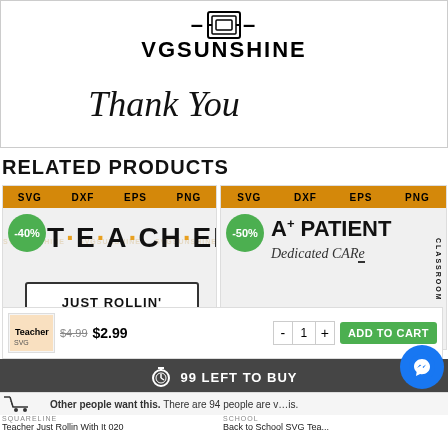[Figure (logo): SVG Sunshine logo with geometric icon, and 'Thank You' in cursive script below]
RELATED PRODUCTS
[Figure (screenshot): Two product cards: 'Teacher Just Rollin With It' SVG with -40% badge, and 'Back to School SVG Teacher' with -50% badge. Format bars show SVG DXF EPS PNG. Price row shows $4.99 crossed out, $2.99 current, quantity selector, and ADD TO CART button.]
99 LEFT TO BUY
Other people want this. There are 94 people are viewing this.
SQUARELINE
Teacher Just Rollin With It 020
SCHOOL
Back to School SVG Tea...